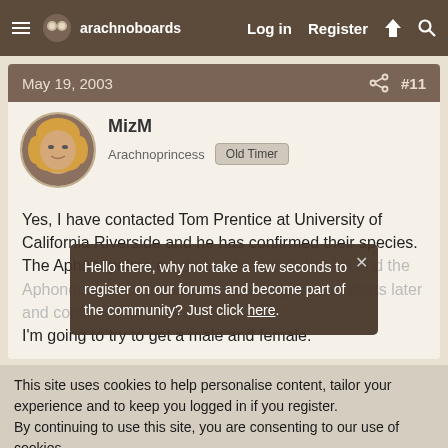arachnoboards — Log in  Register
May 19, 2003  #11
MizM
Arachnoprincess  Old Timer
Yes, I have contacted Tom Prentice at University of California Riverside and he has confirmed their species. The Aphonopelma eutylenum breeds in the fall and the Aphonopelma steindachneri breeding season starts later and continues until early fall. I'm going to try to get a male and female.
Hello there, why not take a few seconds to register on our forums and become part of the community? Just click here.
This site uses cookies to help personalise content, tailor your experience and to keep you logged in if you register.
By continuing to use this site, you are consenting to our use of cookies.
✓ Accept    Learn more...